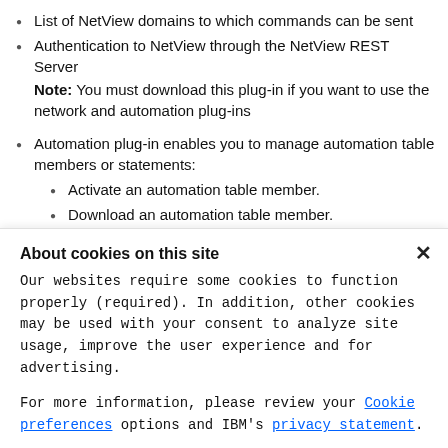List of NetView domains to which commands can be sent
Authentication to NetView through the NetView REST Server
Note: You must download this plug-in if you want to use the network and automation plug-ins
Automation plug-in enables you to manage automation table members or statements:
Activate an automation table member.
Download an automation table member.
List active automation tables.
About cookies on this site
Our websites require some cookies to function properly (required). In addition, other cookies may be used with your consent to analyze site usage, improve the user experience and for advertising.
For more information, please review your Cookie preferences options and IBM's privacy statement.
Required only
Accept all